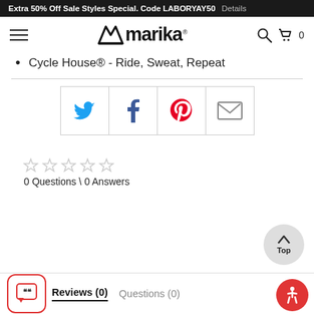Extra 50% Off Sale Styles Special. Code LABORYAY50  Details
[Figure (logo): Marika brand logo with hamburger menu, search icon, and cart icon showing 0 items]
Cycle House® - Ride, Sweat, Repeat
[Figure (infographic): Social share buttons: Twitter (blue bird), Facebook (f), Pinterest (red P), Email (envelope)]
[Figure (infographic): Five empty star rating icons]
0 Questions \ 0 Answers
Reviews (0)   Questions (0)